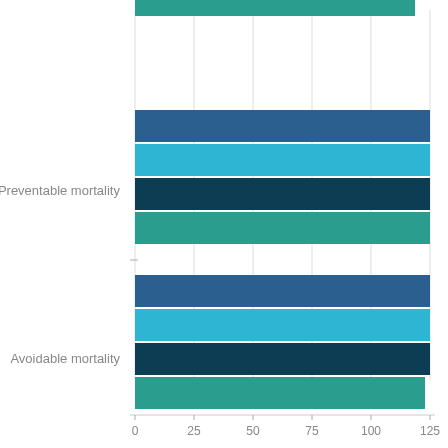[Figure (bar-chart): Preventable mortality and Avoidable mortality]